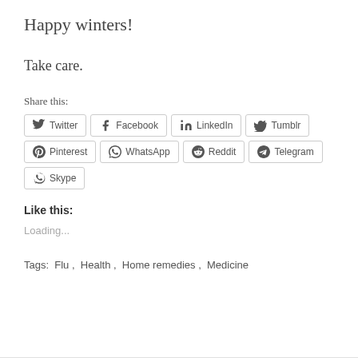Happy winters!
Take care.
Share this:
[Figure (other): Social share buttons: Twitter, Facebook, LinkedIn, Tumblr, Pinterest, WhatsApp, Reddit, Telegram, Skype]
Like this:
Loading...
Tags:  Flu ,  Health ,  Home remedies ,  Medicine